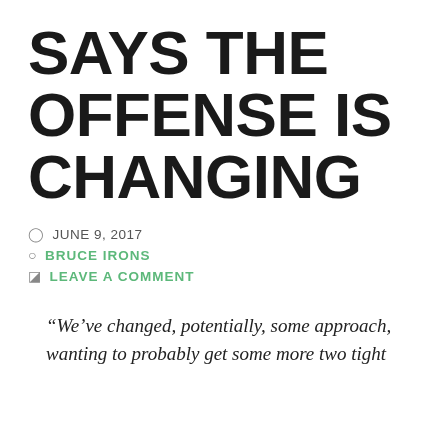SAYS THE OFFENSE IS CHANGING
JUNE 9, 2017
BRUCE IRONS
LEAVE A COMMENT
“We’ve changed, potentially, some approach, wanting to probably get some more two tight